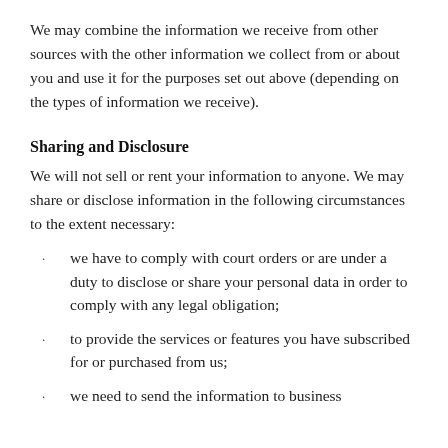We may combine the information we receive from other sources with the other information we collect from or about you and use it for the purposes set out above (depending on the types of information we receive).
Sharing and Disclosure
We will not sell or rent your information to anyone. We may share or disclose information in the following circumstances to the extent necessary:
we have to comply with court orders or are under a duty to disclose or share your personal data in order to comply with any legal obligation;
to provide the services or features you have subscribed for or purchased from us;
we need to send the information to business